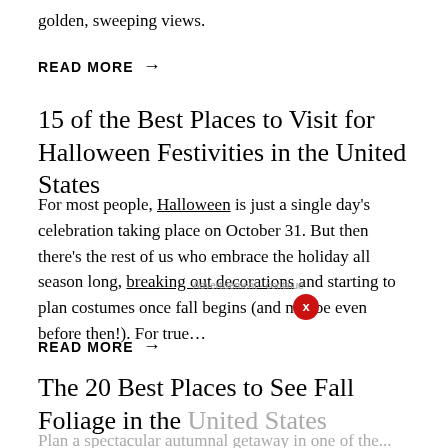golden, sweeping views.
READ MORE →
15 of the Best Places to Visit for Halloween Festivities in the United States
For most people, Halloween is just a single day's celebration taking place on October 31. But then there's the rest of us who embrace the holiday all season long, breaking out decorations and starting to plan costumes once fall begins (and maybe even before then!). For true…
READ MORE →
The 20 Best Places to See Fall Foliage in the United States
Plan a spectacular autumnal getaway in one of the...